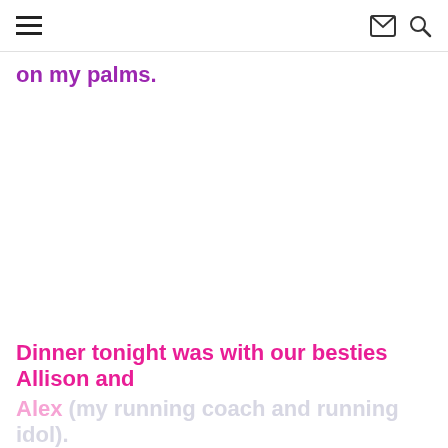[hamburger menu icon] [email icon] [search icon]
on my palms.
Dinner tonight was with our besties Allison and Alex (my running coach and running idol).